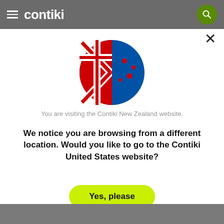contiki
[Figure (illustration): New Zealand flag circular icon — blue circle with Union Jack in upper left and red stars on right side]
You are visiting the Contiki New Zealand website.
We notice you are browsing from a different location. Would you like to go to the Contiki United States website?
Yes, please